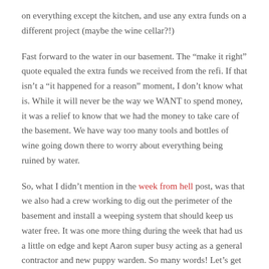on everything except the kitchen, and use any extra funds on a different project (maybe the wine cellar?!)
Fast forward to the water in our basement. The “make it right” quote equaled the extra funds we received from the refi. If that isn’t a “it happened for a reason” moment, I don’t know what is. While it will never be the way we WANT to spend money, it was a relief to know that we had the money to take care of the basement. We have way too many tools and bottles of wine going down there to worry about everything being ruined by water.
So, what I didn’t mention in the week from hell post, was that we also had a crew working to dig out the perimeter of the basement and install a weeping system that should keep us water free. It was one more thing during the week that had us a little on edge and kept Aaron super busy acting as a general contractor and new puppy warden. So many words! Let’s get to some pictures.